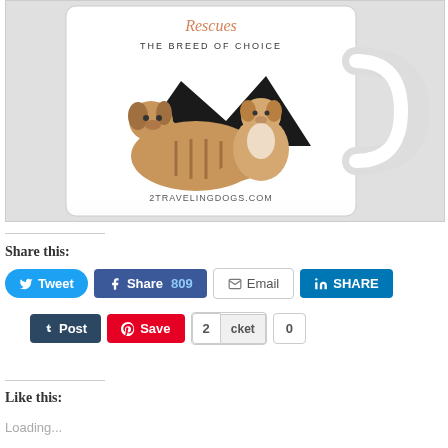[Figure (photo): A white ceramic mug featuring an illustration of two dogs (rescues) with text 'THE BREED OF CHOICE' and '2TRAVELINGDOGS.COM', shown on a light gray background.]
Share this:
Tweet | Share 809 | Email | SHARE | Post | Save | 2 cket | 0
Like this:
Loading...